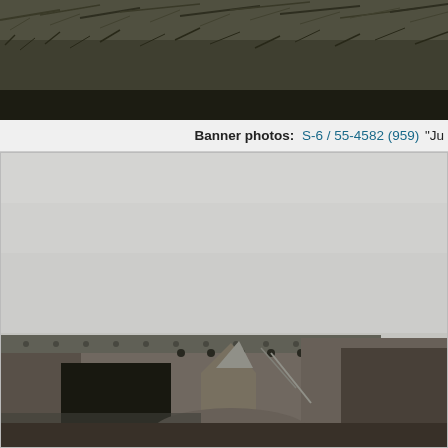[Figure (photo): Black and white photo showing grassy terrain, cropped at top of page]
Banner photos: S-6 / 55-4582 (959) "Ju
[Figure (photo): Black and white photo of an aircraft (tail number visible: 322) in front of a large hangar/military building with distinctive riveted construction]